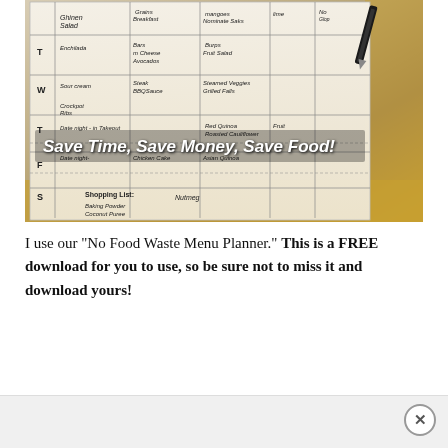[Figure (photo): A handwritten meal planner on paper with a shopping list, showing days of the week (T, W, T, F, S) with various meal entries. Overlaid text reads 'Save Time, Save Money, Save Food!' and 'Shopping List:'. A pen is visible in the upper right.]
I use our "No Food Waste Menu Planner." This is a FREE download for you to use, so be sure not to miss it and download yours!